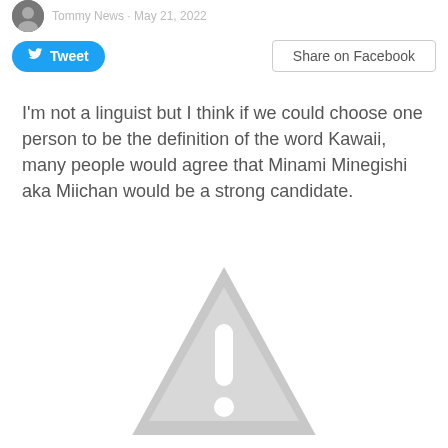Tommy News · May 21, 2022
Tweet | Share on Facebook
I'm not a linguist but I think if we could choose one person to be the definition of the word Kawaii, many people would agree that Minami Minegishi aka Miichan would be a strong candidate.
[Figure (illustration): Gray warning triangle with exclamation mark, partially visible at bottom of page]